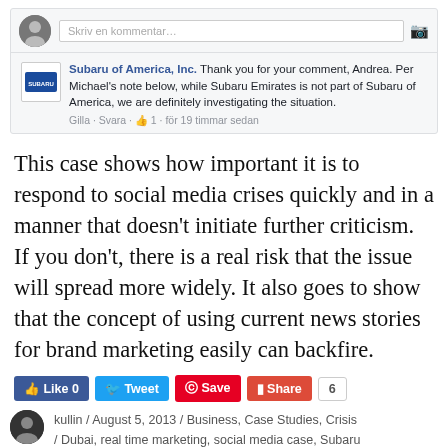[Figure (screenshot): Facebook comment box showing a comment from Subaru of America, Inc. responding to Andrea, stating they are investigating the situation regarding Subaru Emirates. Includes like/reply meta with 1 like, posted 19 hours ago.]
This case shows how important it is to respond to social media crises quickly and in a manner that doesn't initiate further criticism. If you don't, there is a real risk that the issue will spread more widely. It also goes to show that the concept of using current news stories for brand marketing easily can backfire.
[Figure (screenshot): Social media sharing buttons: Like 0 (Facebook blue), Tweet (Twitter blue), Save (Pinterest red), Share (Google+ red), count badge showing 6]
kullin / August 5, 2013 / Business, Case Studies, Crisis / Dubai, real time marketing, social media case, Subaru